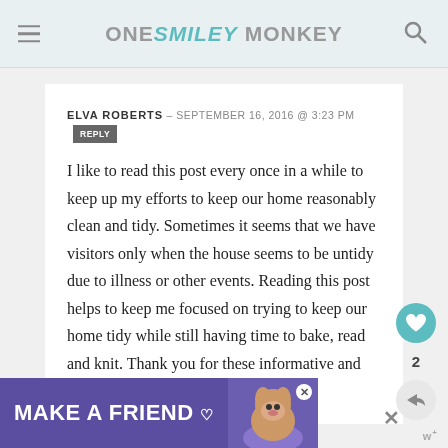ONE SMILEY MONKEY
ELVA ROBERTS – SEPTEMBER 16, 2016 @ 3:23 PM REPLY
I like to read this post every once in a while to keep up my efforts to keep our home reasonably clean and tidy. Sometimes it seems that we have visitors only when the house seems to be untidy due to illness or other events. Reading this post helps to keep me focused on trying to keep our home tidy while still having time to bake, read and knit. Thank you for these informative and
[Figure (infographic): Purple advertisement banner reading MAKE A FRIEND with a dog image and heart icon]